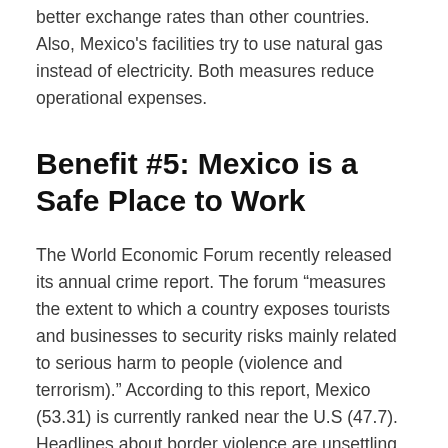better exchange rates than other countries. Also, Mexico's facilities try to use natural gas instead of electricity. Both measures reduce operational expenses.
Benefit #5: Mexico is a Safe Place to Work
The World Economic Forum recently released its annual crime report. The forum “measures the extent to which a country exposes tourists and businesses to security risks mainly related to serious harm to people (violence and terrorism).” According to this report, Mexico (53.31) is currently ranked near the U.S (47.7). Headlines about border violence are unsettling, but these reports are incomplete. The violence that dominates the